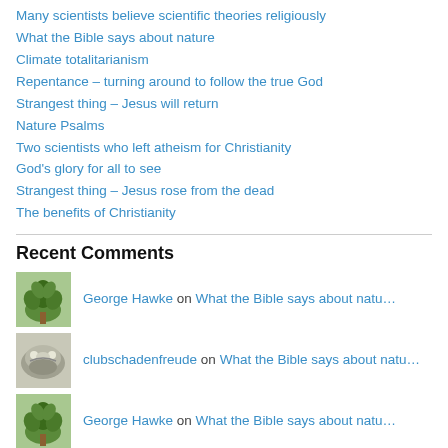Many scientists believe scientific theories religiously
What the Bible says about nature
Climate totalitarianism
Repentance – turning around to follow the true God
Strangest thing – Jesus will return
Nature Psalms
Two scientists who left atheism for Christianity
God's glory for all to see
Strangest thing – Jesus rose from the dead
The benefits of Christianity
Recent Comments
George Hawke on What the Bible says about natu…
clubschadenfreude on What the Bible says about natu…
George Hawke on What the Bible says about natu…